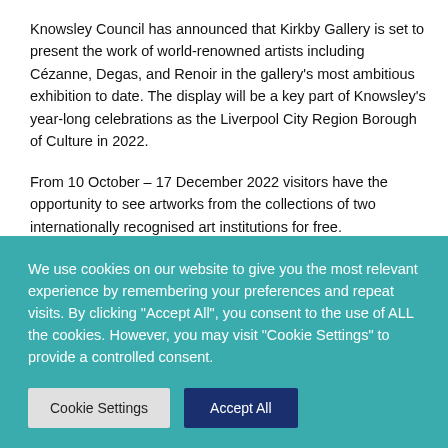Knowsley Council has announced that Kirkby Gallery is set to present the work of world-renowned artists including Cézanne, Degas, and Renoir in the gallery's most ambitious exhibition to date. The display will be a key part of Knowsley's year-long celebrations as the Liverpool City Region Borough of Culture in 2022.
From 10 October – 17 December 2022 visitors have the opportunity to see artworks from the collections of two internationally recognised art institutions for free.
The National Gallery Masterpiece Tour presents Hélène
We use cookies on our website to give you the most relevant experience by remembering your preferences and repeat visits. By clicking "Accept All", you consent to the use of ALL the cookies. However, you may visit "Cookie Settings" to provide a controlled consent.